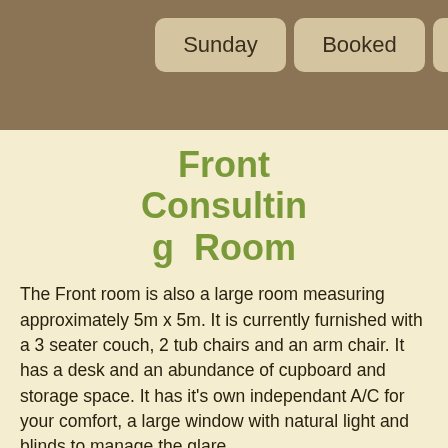| Sunday | Booked | Booked |
| --- | --- | --- |
Front Consulting Room
The Front room is also a large room measuring approximately 5m x 5m. It is currently furnished with a 3 seater couch, 2 tub chairs and an arm chair. It has a desk and an abundance of cupboard and storage space. It has it's own independant A/C for your comfort, a large window with natural light and blinds to manage the glare.
As per the other rooms it too has an